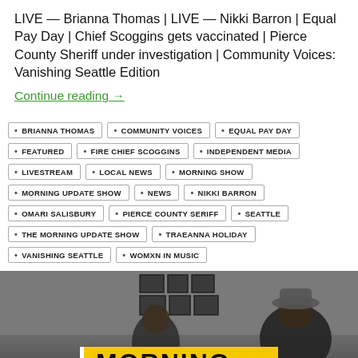LIVE — Brianna Thomas | LIVE — Nikki Barron | Equal Pay Day | Chief Scoggins gets vaccinated | Pierce County Sheriff under investigation | Community Voices: Vanishing Seattle Edition
Continue reading →
BRIANNA THOMAS
COMMUNITY VOICES
EQUAL PAY DAY
FEATURED
FIRE CHIEF SCOGGINS
INDEPENDENT MEDIA
LIVESTREAM
LOCAL NEWS
MORNING SHOW
MORNING UPDATE SHOW
NEWS
NIKKI BARRON
OMARI SALISBURY
PIERCE COUNTY SERIFF
SEATTLE
THE MORNING UPDATE SHOW
TRAEANNA HOLIDAY
VANISHING SEATTLE
WOMXN IN MUSIC
[Figure (photo): Two men in a studio setting with framed pictures on the wall behind them. A yellow banner at the bottom reads MORNING in large bold letters.]